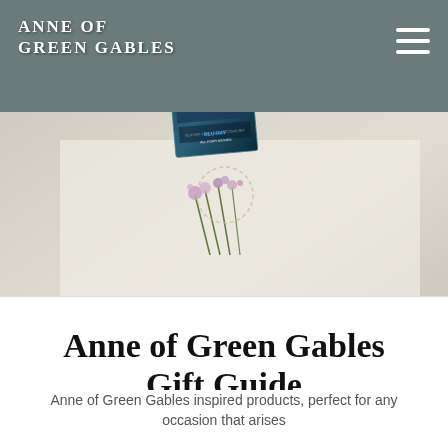ANNE OF GREEN GABLES
[Figure (photo): Hero banner image showing an Anne of Green Gables Blu-ray 4-disc collector's set box, a gift wrapped in kraft paper with a bow, pink/purple flowers, and olive branch greenery on a white background.]
Anne of Green Gables Gift Guide
Anne of Green Gables inspired products, perfect for any occasion that arises
[Figure (photo): Black and white photograph partially visible at bottom of page, appearing to show a person or portrait.]